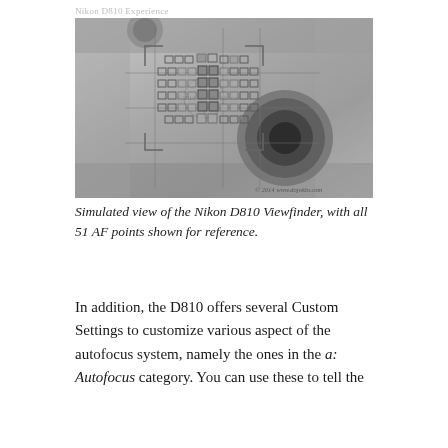Nikon D810 Experience
[Figure (photo): Simulated view of the Nikon D810 viewfinder showing all 51 AF points as small squares overlaid on a vintage camera image. Grid lines divide the viewfinder area. Copyright 2014 www.dojoklo.com]
Simulated view of the Nikon D810 Viewfinder, with all 51 AF points shown for reference.
In addition, the D810 offers several Custom Settings to customize various aspect of the autofocus system, namely the ones in the a: Autofocus category. You can use these to tell the